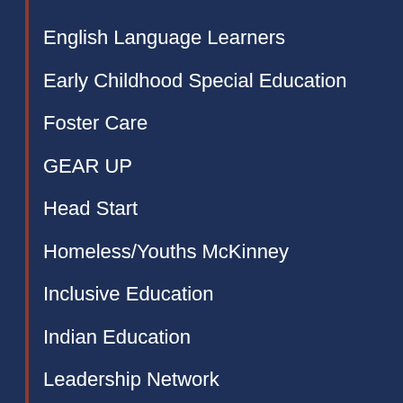English Language Learners
Early Childhood Special Education
Foster Care
GEAR UP
Head Start
Homeless/Youths McKinney
Inclusive Education
Indian Education
Leadership Network
Migrant Education
Purple Star Schools
QRIS
Read by Grade Three